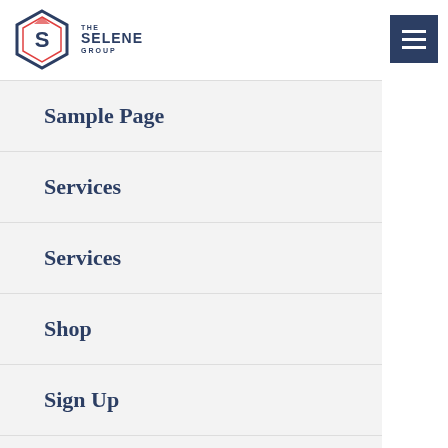[Figure (logo): The Selene Group logo — hexagonal icon with S shape and house/building motif, red and navy blue colors, with text 'THE SELENE GROUP' beside it]
Sample Page
Services
Services
Shop
Sign Up
Sign Up